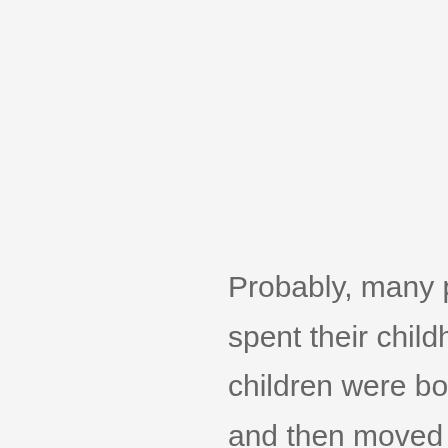Probably, many people born in the 20th century spent their childhood in the countryside. Many children were born in small villages or towns and then moved to big cities. Even those who were born in the city used to go to the countryside to visit their grandparents during summer vacation.
Now the situation has greatly changed: people prefer to have a rest at the seaside. So, the countryside is not popular now. And we can easily explain it. Many villages and small towns are in poor condition now, and the major part of their inhabitants moved to big cities long time ago. But there is some talk that this situation tends to improve. People start to appreciate the time spent in